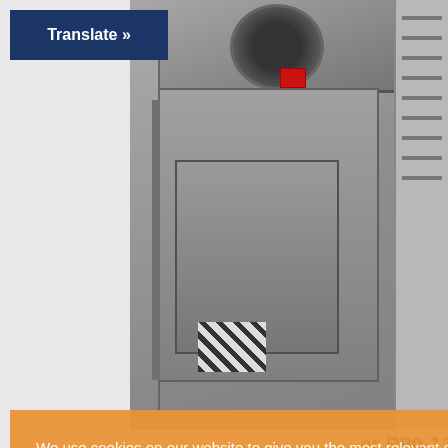[Figure (photo): Industrial stainless steel equipment (oven or processing unit) with ventilation hood on top, control panel, and rack shelving on right side]
[Figure (screenshot): Translate button, dark navy blue background with white bold text 'Translate »']
er P90-12
We use cookies on our website to give you the most relevant experience by remembering your preferences and repeat visits. By clicking "Accept All", you consent to the use of ALL the cookies. However, you may visit "Cookie Settings" to provide a controlled consent.
Cookie Settings | Accept